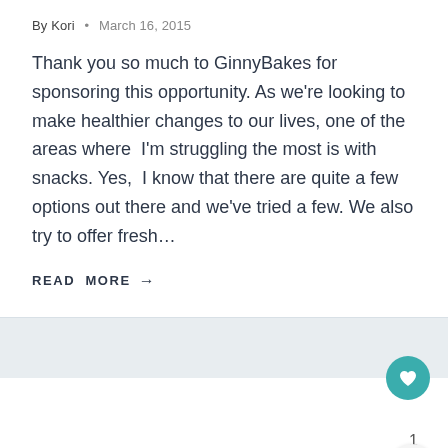By Kori • March 16, 2015
Thank you so much to GinnyBakes for sponsoring this opportunity. As we're looking to make healthier changes to our lives, one of the areas where  I'm struggling the most is with snacks. Yes,  I know that there are quite a few options out there and we've tried a few. We also try to offer fresh…
READ MORE →
[Figure (other): Teal circular heart/like button icon]
1
[Figure (other): Share button icon (circular light gray button with share symbol)]